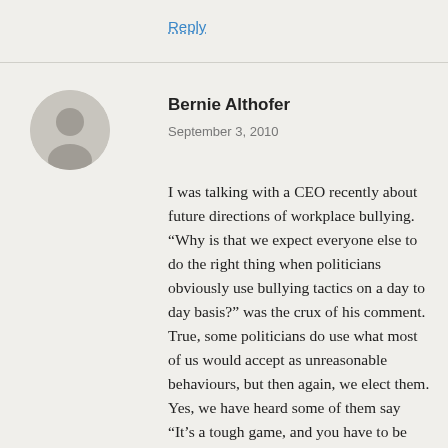Reply
Bernie Althofer
September 3, 2010
I was talking with a CEO recently about future directions of workplace bullying. “Why is that we expect everyone else to do the right thing when politicians obviously use bullying tactics on a day to day basis?” was the crux of his comment. True, some politicians do use what most of us would accept as unreasonable behaviours, but then again, we elect them. Yes, we have heard some of them say “It’s a tough game, and you have to be tough.” That does not excuse verbal abuse, threats or other forms of abuse. There is nothing wrong with treating others with respect and dignity. Two politicians can have ideological differences (as can two people in the workplace) and agree to disagree without abusing the other. Politicians like CEO’s, executive officers and others in leadership or managerial positions are expected to lead by example. They should be living the behaviours they want the world to adopt, and it